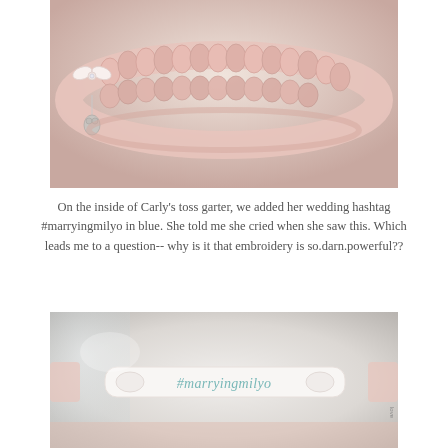[Figure (photo): Close-up photo of a pink braided/woven garter bracelet with a white bow and a silver charm pendant (appears to be a hand/face charm) on a light background.]
On the inside of Carly's toss garter, we added her wedding hashtag #marryingmilyo in blue. She told me she cried when she saw this. Which leads me to a question-- why is it that embroidery is so.darn.powerful??
[Figure (photo): Close-up photo of the inside of a white bridal garter showing the blue embroidered text '#marryingmilyo' in a cursive/script style on a white fabric band, displayed against a glass/reflective surface.]